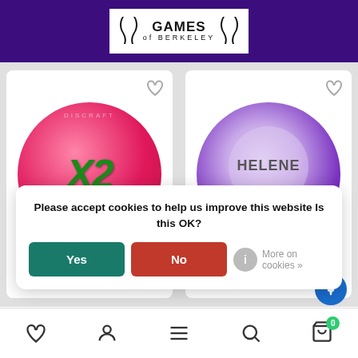Games of Berkeley
[Figure (photo): Pink disc golf disc with X2 label]
[Figure (photo): Purple disc golf disc with Helene label]
Please accept cookies to help us improve this website Is this OK?
Yes
No
More on cookies »
Fade 4 Overstable Distance
Fade 3.5 Overstable Distance
Navigation bar with heart, user, menu, search, cart (0) icons